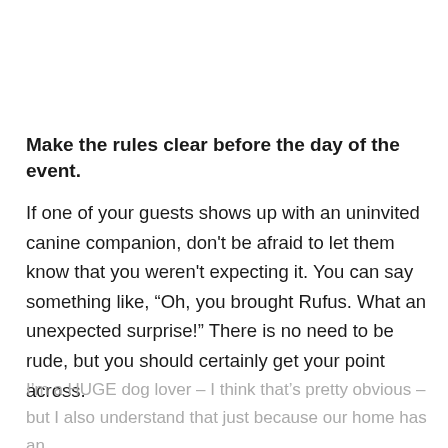Make the rules clear before the day of the event.
If one of your guests shows up with an uninvited canine companion, don't be afraid to let them know that you weren't expecting it. You can say something like, “Oh, you brought Rufus. What an unexpected surprise!” There is no need to be rude, but you should certainly get your point across.
I’m a HUGE dog lover – I think that’s pretty obvious – but I also understand that just because our home has an